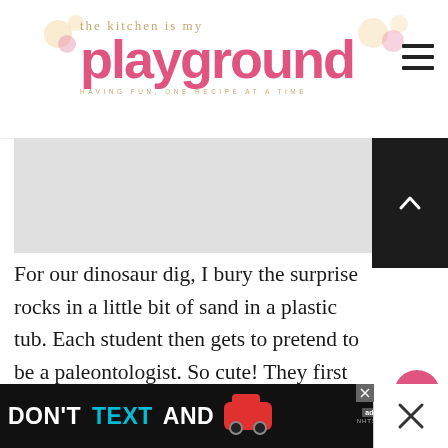the kitchen is my playground — HAVING FUN, ONE RECIPE AT A TIME
[Figure (screenshot): Gray image placeholder area below the header]
For our dinosaur dig, I bury the surprise rocks in a little bit of sand in a plastic tub. Each student then gets to pretend to be a paleontologist. So cute! They first look over the 'land,' scanning for an area that looks like it's a little different than the surrounding 'land.' Once they've found potential dig
[Figure (screenshot): What's Next: Easter Bunny Butt... promotional box with thumbnail]
[Figure (screenshot): DON'T TEXT AND [drive] advertisement banner at the bottom of the page]